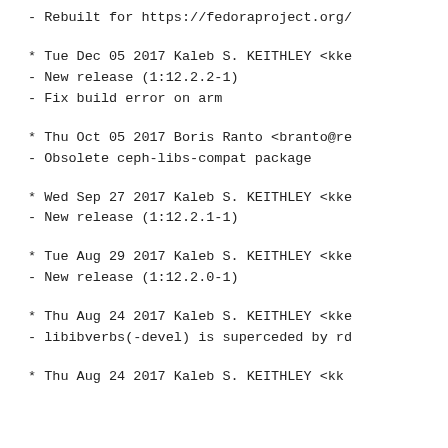- Rebuilt for https://fedoraproject.org/
* Tue Dec 05 2017 Kaleb S. KEITHLEY <kke
- New release (1:12.2.2-1)
- Fix build error on arm
* Thu Oct 05 2017 Boris Ranto <branto@re
- Obsolete ceph-libs-compat package
* Wed Sep 27 2017 Kaleb S. KEITHLEY <kke
- New release (1:12.2.1-1)
* Tue Aug 29 2017 Kaleb S. KEITHLEY <kke
- New release (1:12.2.0-1)
* Thu Aug 24 2017 Kaleb S. KEITHLEY <kke
- libibverbs(-devel) is superceded by rd
* Thu Aug 24 2017 Kaleb S. KEITHLEY <kk